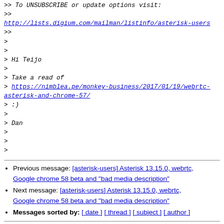>> To UNSUBSCRIBE or update options visit:
>>
http://lists.digium.com/mailman/listinfo/asterisk-users
>>
>
>
> Hi Teijo
>
> Take a read of
> https://nimblea.pe/monkey-business/2017/01/19/webrtc-asterisk-and-chrome-57/
> :)
>
> Dan
>
>
>
Previous message: [asterisk-users] Asterisk 13.15.0, webrtc, Google chrome 58 beta and "bad media description"
Next message: [asterisk-users] Asterisk 13.15.0, webrtc, Google chrome 58 beta and "bad media description"
Messages sorted by: [ date ] [ thread ] [ subject ] [ author ]
More information about the asterisk-users mailing list